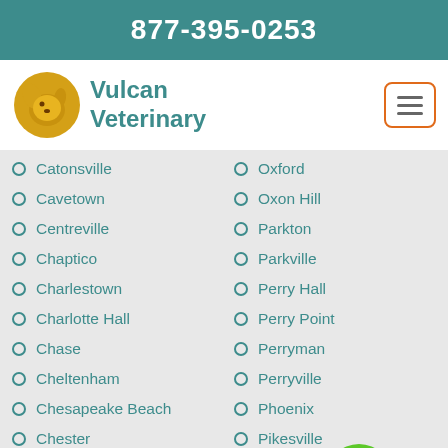877-395-0253
[Figure (logo): Vulcan Veterinary logo with dog icon and teal text]
Catonsville
Oxford
Cavetown
Oxon Hill
Centreville
Parkton
Chaptico
Parkville
Charlestown
Perry Hall
Charlotte Hall
Perry Point
Chase
Perryman
Cheltenham
Perryville
Chesapeake Beach
Phoenix
Chester
Pikesville
Chevy Chase
Point Of Rocks
Chewsville
Pomfret